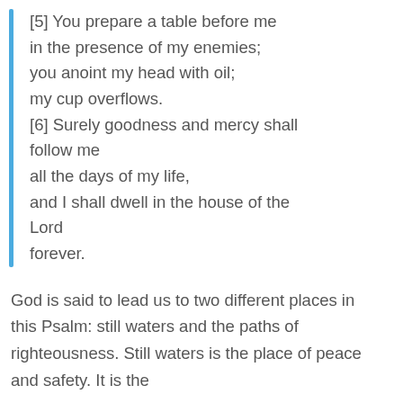[5] You prepare a table before me in the presence of my enemies; you anoint my head with oil; my cup overflows. [6] Surely goodness and mercy shall follow me all the days of my life, and I shall dwell in the house of the Lord forever.
God is said to lead us to two different places in this Psalm: still waters and the paths of righteousness. Still waters is the place of peace and safety. It is the